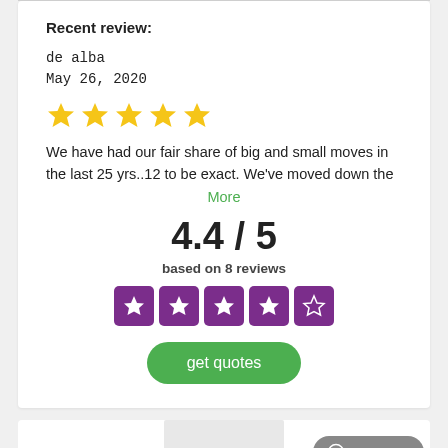Recent review:
de alba
May 26, 2020
[Figure (other): 5 gold star rating icons]
We have had our fair share of big and small moves in the last 25 yrs..12 to be exact. We've moved down the
More
4.4 / 5
based on 8 reviews
[Figure (other): 4 filled purple star boxes and 1 empty/outline purple star box showing rating of 4.4/5]
get quotes
Chat now